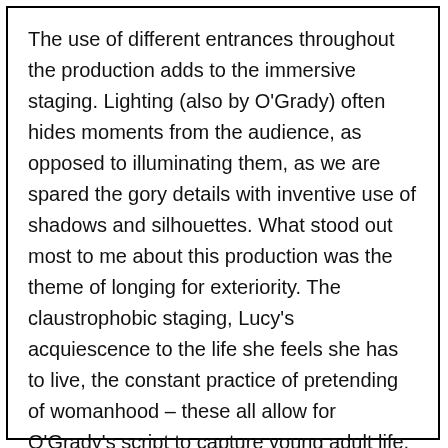The use of different entrances throughout the production adds to the immersive staging. Lighting (also by O'Grady) often hides moments from the audience, as opposed to illuminating them, as we are spared the gory details with inventive use of shadows and silhouettes. What stood out most to me about this production was the theme of longing for exteriority. The claustrophobic staging, Lucy's acquiescence to the life she feels she has to live, the constant practice of pretending of womanhood – these all allow for O'Grady's script to capture young adult life, reframed in the backdrop of this classic tale. The audience, like Mina, are left with the presence of the free and unconstrained female Dracula in the foreground of our minds.